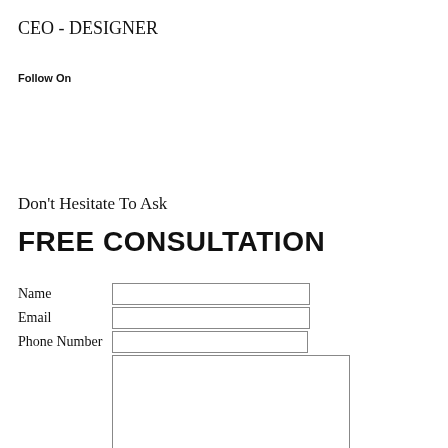CEO - DESIGNER
Follow On
Don't Hesitate To Ask
FREE CONSULTATION
| Name |  |
| Email |  |
| Phone Number |  |
|  | (textarea) |